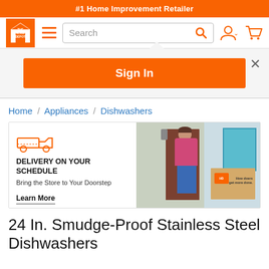#1 Home Improvement Retailer
[Figure (screenshot): The Home Depot navigation bar with logo, hamburger menu, search box, user icon, and cart icon. Below is a Sign In button dropdown with close X button. Below is a breadcrumb: Home / Appliances / Dishwashers. Below is a banner ad with delivery truck icon, 'DELIVERY ON YOUR SCHEDULE', 'Bring the Store to Your Doorstep', 'Learn More' link on the left, and a photo of a woman at her front door with a Home Depot delivery box on the right.]
24 In. Smudge-Proof Stainless Steel Dishwashers